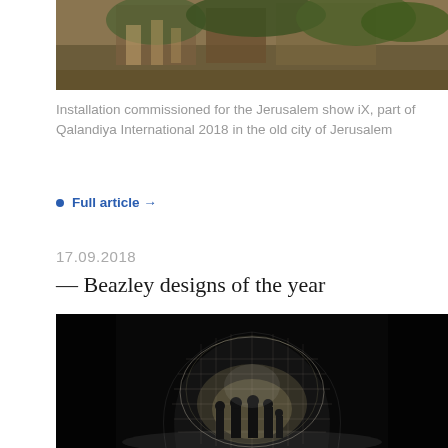[Figure (photo): Top portion of an outdoor installation photograph, showing architectural structures with foliage/trees]
Installation commissioned for the Jerusalem show iX, part of Qalandiya International 2018 in the old city of Jerusalem
Full article →
17.09.2018
— Beazley designs of the year
[Figure (photo): Black and white photograph of people walking through an illuminated tunnel-like architectural installation made of latticed/grid structure, glowing against a dark background]